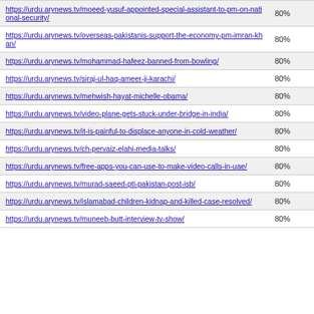| URL | Score |
| --- | --- |
| https://urdu.arynews.tv/moeed-yusuf-appointed-special-assistant-to-pm-on-national-security/ | 80% |
| https://urdu.arynews.tv/overseas-pakistanis-support-the-economy-pm-imran-khan/ | 80% |
| https://urdu.arynews.tv/mohammad-hafeez-banned-from-bowling/ | 80% |
| https://urdu.arynews.tv/siraj-ul-haq-ameer-ji-karachi/ | 80% |
| https://urdu.arynews.tv/mehwish-hayat-michelle-obama/ | 80% |
| https://urdu.arynews.tv/video-plane-gets-stuck-under-bridge-in-india/ | 80% |
| https://urdu.arynews.tv/it-is-painful-to-displace-anyone-in-cold-weather/ | 80% |
| https://urdu.arynews.tv/ch-pervaiz-elahi-media-talks/ | 80% |
| https://urdu.arynews.tv/free-apps-you-can-use-to-make-video-calls-in-uae/ | 80% |
| https://urdu.arynews.tv/murad-saeed-pti-pakistan-post-isb/ | 80% |
| https://urdu.arynews.tv/islamabad-children-kidnap-and-killed-case-resolved/ | 80% |
| https://urdu.arynews.tv/muneeb-butt-interview-tv-show/ | 80% |